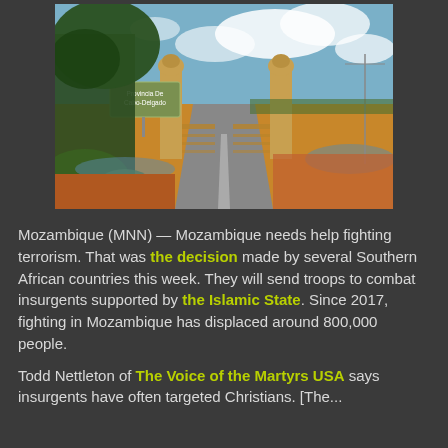[Figure (photo): Road entrance to Provincia De Cabo-Delgado, Mozambique, with two ornate golden columns flanking the road, a sign reading 'Provincia De Cabo-Delgado', a large tree on the left side, a bridge with railings extending into the distance, red-orange dirt on the sides, and a cloudy sky.]
Mozambique (MNN) — Mozambique needs help fighting terrorism. That was the decision made by several Southern African countries this week. They will send troops to combat insurgents supported by the Islamic State. Since 2017, fighting in Mozambique has displaced around 800,000 people.
Todd Nettleton of The Voice of the Martyrs USA says insurgents have often targeted Christians. [They...